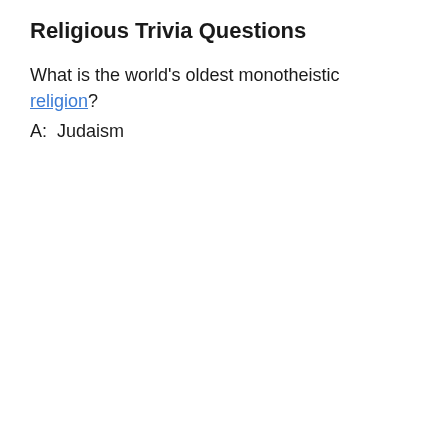Religious Trivia Questions
What is the world's oldest monotheistic religion?
A:  Judaism